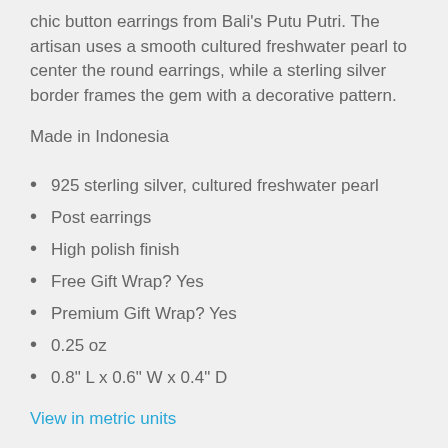chic button earrings from Bali's Putu Putri. The artisan uses a smooth cultured freshwater pearl to center the round earrings, while a sterling silver border frames the gem with a decorative pattern.
Made in Indonesia
925 sterling silver, cultured freshwater pearl
Post earrings
High polish finish
Free Gift Wrap? Yes
Premium Gift Wrap? Yes
0.25 oz
0.8" L x 0.6" W x 0.4" D
View in metric units